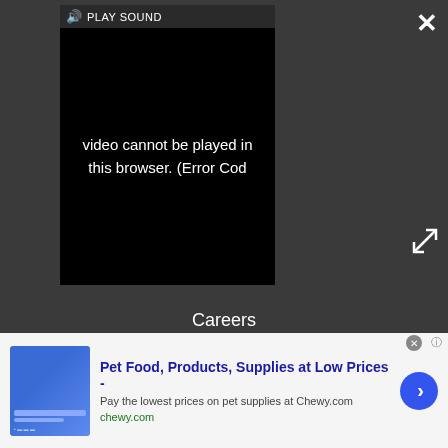[Figure (screenshot): Video player showing error message: 'video cannot be played in this browser. (Error Cod' with PLAY SOUND button and speaker icon at top]
×
⤢
Careers
Advertise with Us
Contact Us
Do not sell my info
© Future Publishing Limited Quay House, The Ambury, Bath
[Figure (infographic): Advertisement banner for Chewy.com: Pet Food, Products, Supplies at Low Prices - Pay the lowest prices on pet supplies at Chewy.com]